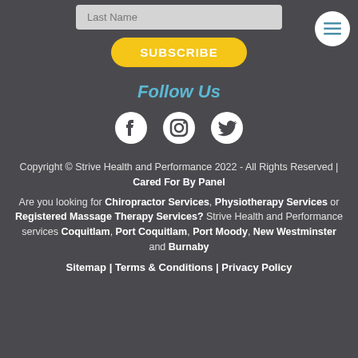[Figure (other): Last Name input field (form element)]
[Figure (other): Subscribe button (yellow pill-shaped button with text SUBSCRIBE)]
[Figure (other): Hamburger menu button (white circle with three horizontal lines)]
Follow Us
[Figure (other): Social media icons: Facebook, Instagram, Twitter (white icons on dark background)]
Copyright © Strive Health and Performance 2022 - All Rights Reserved | Cared For By Panel
Are you looking for Chiropractor Services, Physiotherapy Services or Registered Massage Therapy Services? Strive Health and Performance services Coquitlam, Port Coquitlam, Port Moody, New Westminster and Burnaby
Sitemap | Terms & Conditions | Privacy Policy